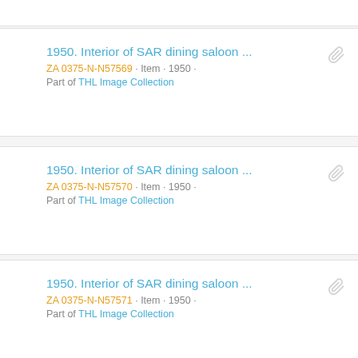1950. Interior of SAR dining saloon ... ZA 0375-N-N57569 · Item · 1950 · Part of THL Image Collection
1950. Interior of SAR dining saloon ... ZA 0375-N-N57570 · Item · 1950 · Part of THL Image Collection
1950. Interior of SAR dining saloon ... ZA 0375-N-N57571 · Item · 1950 · Part of THL Image Collection